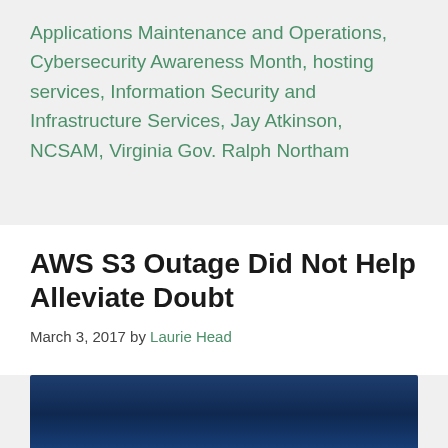Applications Maintenance and Operations, Cybersecurity Awareness Month, hosting services, Information Security and Infrastructure Services, Jay Atkinson, NCSAM, Virginia Gov. Ralph Northam
AWS S3 Outage Did Not Help Alleviate Doubt
March 3, 2017 by Laurie Head
[Figure (photo): Dark blue image block at the bottom of the page, partially visible]